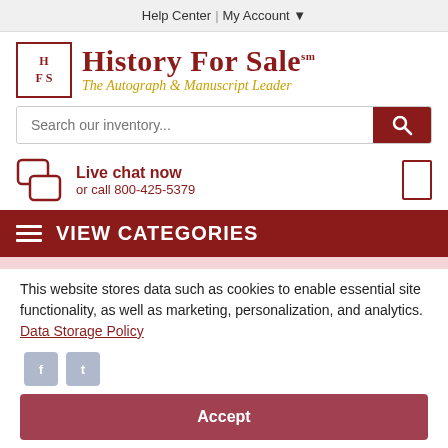Help Center | My Account
[Figure (logo): History For Sale logo with HFS monogram box and tagline 'The Autograph & Manuscript Leader']
Search our inventory...
Live chat now or call 800-425-5379
VIEW CATEGORIES
This website stores data such as cookies to enable essential site functionality, as well as marketing, personalization, and analytics. Data Storage Policy
Accept
Deny